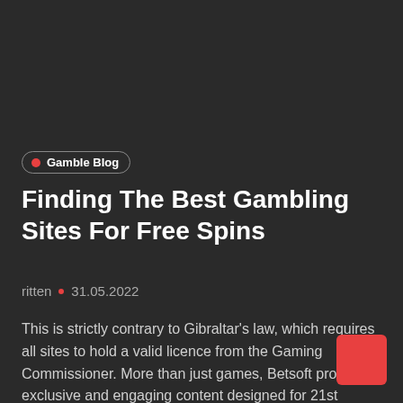Gamble Blog
Finding The Best Gambling Sites For Free Spins
ritten • 31.05.2022
This is strictly contrary to Gibraltar's law, which requires all sites to hold a valid licence from the Gaming Commissioner. More than just games, Betsoft produces exclusive and engaging content designed for 21st century online casino enthusiasts. They are beautiful cartoon characters who contribute to the fun atmosphere and encourage the Punters to try the casino.
[Figure (other): Red square decorative element in bottom-right corner]